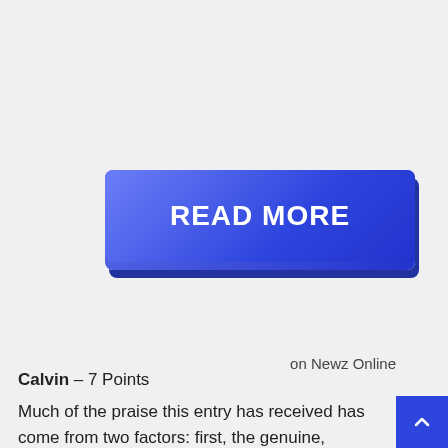[Figure (other): A blue gradient 'READ MORE' button with 3D shadow effect]
on Newz Online
Calvin – 7 Points
Much of the praise this entry has received has come from two factors: first, the genuine, authentic feel of the lyrics, written